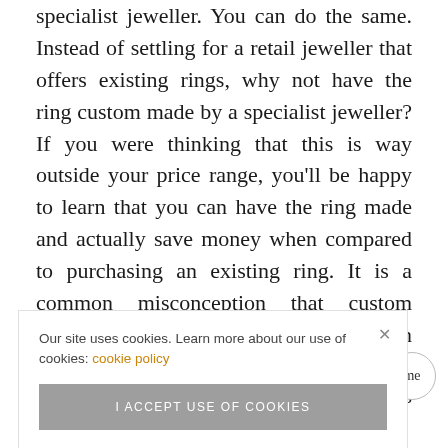specialist jeweller. You can do the same. Instead of settling for a retail jeweller that offers existing rings, why not have the ring custom made by a specialist jeweller? If you were thinking that this is way outside your price range, you'll be happy to learn that you can have the ring made and actually save money when compared to purchasing an existing ring. It is a common misconception that custom jewellery is more expensive than something sitting on the jewellery store shelf, so prior to
Our site uses cookies. Learn more about our use of cookies: cookie policy
you acquired
designed by
I ACCEPT USE OF COOKIES
he ideal time
to buy a diamond engagement ring, as this is